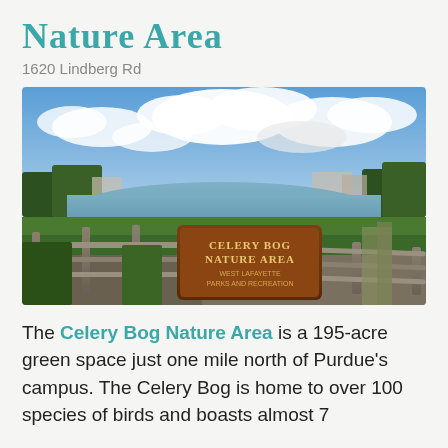Nature Area
1620 Lindberg Rd
[Figure (photo): Outdoor photo of Celery Bog Nature Area showing a pond with clouds and blue sky reflected in the water, green vegetation, a wooden split-rail fence in the foreground, and a wooden sign reading 'Celery Bog Nature Area, West Lafayette Parks and Recreation']
The Celery Bog Nature Area is a 195-acre green space just one mile north of Purdue's campus. The Celery Bog is home to over 100 species of birds and boasts almost 7